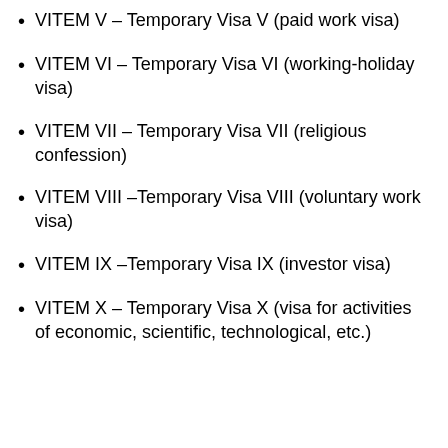VITEM V – Temporary Visa V (paid work visa)
VITEM VI – Temporary Visa VI (working-holiday visa)
VITEM VII – Temporary Visa VII (religious confession)
VITEM VIII –Temporary Visa VIII (voluntary work visa)
VITEM IX –Temporary Visa IX (investor visa)
VITEM X – Temporary Visa X (visa for activities of economic, scientific, technological, etc.)